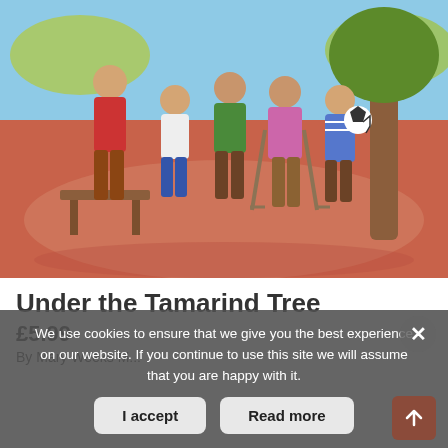[Figure (illustration): Children's book cover illustration showing a group of children standing together outdoors under a tree. One child is on crutches wearing a pink top and brown shorts. Other children in colorful clothing stand around. A small wooden bench/table is visible. Red-orange earthen ground, green foliage, blue sky in the background.]
Under the Tamarind Tree
£5.99
By Mary Weeks M...
We use cookies to ensure that we give you the best experience on our website. If you continue to use this site we will assume that you are happy with it.